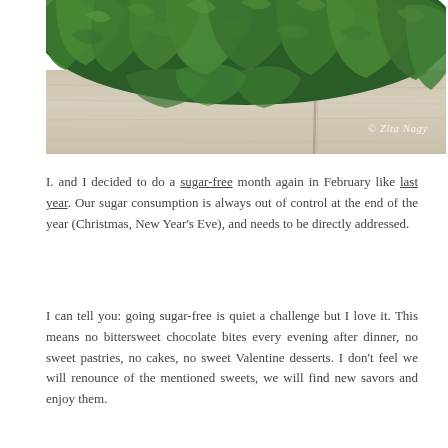[Figure (photo): Close-up photo of fresh green kale leaves on a light wooden surface. Watermark reads '© Zita Nagy' in bottom right corner.]
I. and I decided to do a sugar-free month again in February like last year. Our sugar consumption is always out of control at the end of the year (Christmas, New Year's Eve), and needs to be directly addressed.
I can tell you: going sugar-free is quiet a challenge but I love it. This means no bittersweet chocolate bites every evening after dinner, no sweet pastries, no cakes, no sweet Valentine desserts. I don't feel we will renounce of the mentioned sweets, we will find new savors and enjoy them.